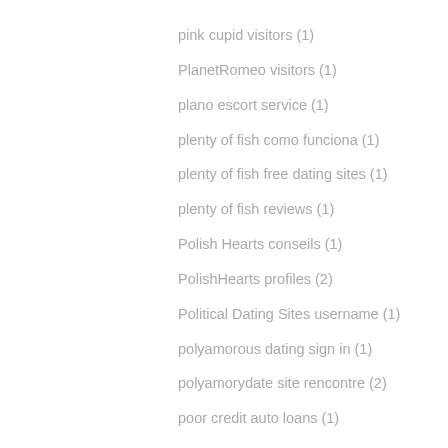pink cupid visitors (1)
PlanetRomeo visitors (1)
plano escort service (1)
plenty of fish como funciona (1)
plenty of fish free dating sites (1)
plenty of fish reviews (1)
Polish Hearts conseils (1)
PolishHearts profiles (2)
Political Dating Sites username (1)
polyamorous dating sign in (1)
polyamorydate site rencontre (2)
poor credit auto loans (1)